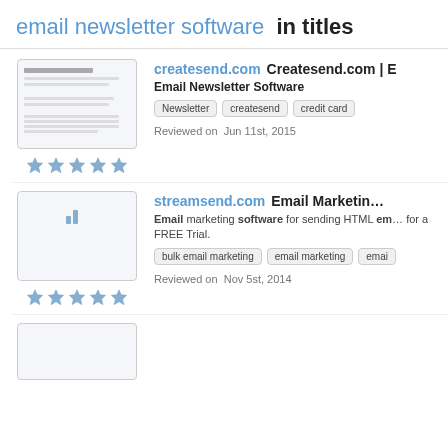email newsletter software  in titles
[Figure (screenshot): Thumbnail screenshot of createsend.com with document lines]
★★★★★
createsend.com  Createsend.com | E...
Email Newsletter Software
Newsletter
createsend
credit card
Reviewed on  Jun 11st, 2015
[Figure (screenshot): Thumbnail screenshot of streamsend.com with small blue bar icon]
★★★★★
streamsend.com  Email Marketing | M...
Email marketing software for sending HTML em... for a FREE Trial.
bulk email marketing
email marketing
emai...
Reviewed on  Nov 5st, 2014